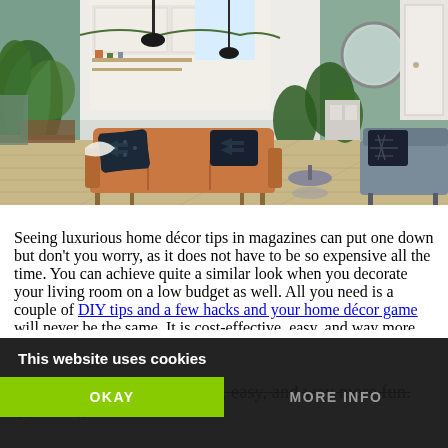[Figure (photo): Interior photo of a stylish living room with a tan leather sofa, dark patterned throw pillows, wood floors, plants, open kitchen in background, and gray sofa on the right side.]
Seeing luxurious home décor tips in magazines can put one down but don't you worry, as it does not have to be so expensive all the time. You can achieve quite a similar look when you decorate your living room on a low budget as well. All you need is a couple of DIY tips and a few hacks and your home décor game will never be the same. It is cost-effective, easy, and way more fun. Also, in th...
This website uses cookies
OKAY
MORE INFO